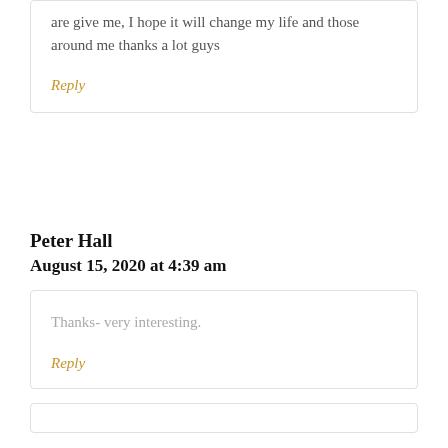are give me, I hope it will change my life and those around me thanks a lot guys
Reply
Peter Hall
August 15, 2020 at 4:39 am
Thanks- very interesting.
Reply